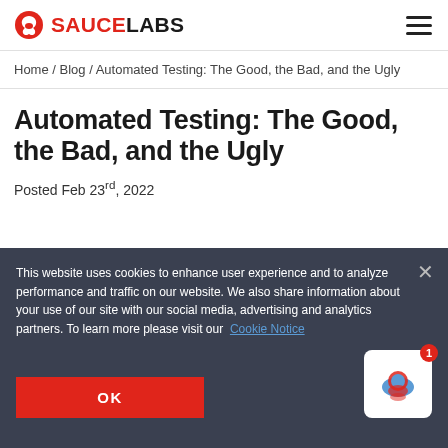SAUCE LABS [logo + hamburger menu]
Home / Blog / Automated Testing: The Good, the Bad, and the Ugly
Automated Testing: The Good, the Bad, and the Ugly
Posted Feb 23rd, 2022
This website uses cookies to enhance user experience and to analyze performance and traffic on our website. We also share information about your use of our site with our social media, advertising and analytics partners. To learn more please visit our Cookie Notice
OK